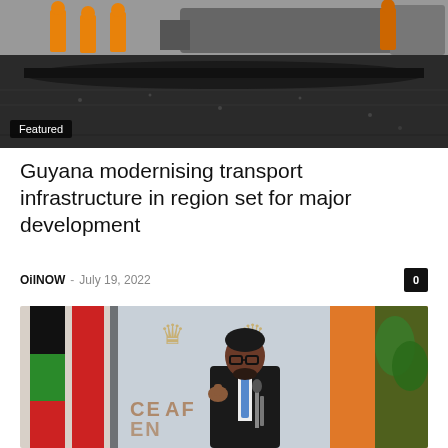[Figure (photo): Workers in orange safety gear laying asphalt on a road, with a paving machine in the background. Black and white toned photo.]
Featured
Guyana modernising transport infrastructure in region set for major development
OilNOW  –  July 19, 2022
[Figure (photo): A man in a dark suit with glasses giving a thumbs up at a podium with microphones. Red and green flags visible in the background along with crown logos and an orange backdrop.]